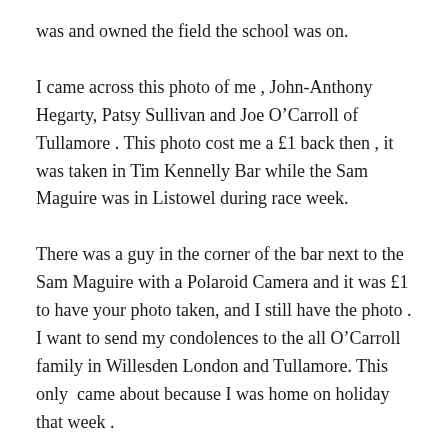was and owned the field the school was on.
I came across this photo of me , John-Anthony Hegarty, Patsy Sullivan and Joe O'Carroll of Tullamore . This photo cost me a £1 back then , it was taken in Tim Kennelly Bar while the Sam Maguire was in Listowel during race week.
There was a guy in the corner of the bar next to the Sam Maguire with a Polaroid Camera and it was £1 to have your photo taken, and I still have the photo . I want to send my condolences to the all O'Carroll family in Willesden London and Tullamore. This only  came about because I was home on holiday that week .